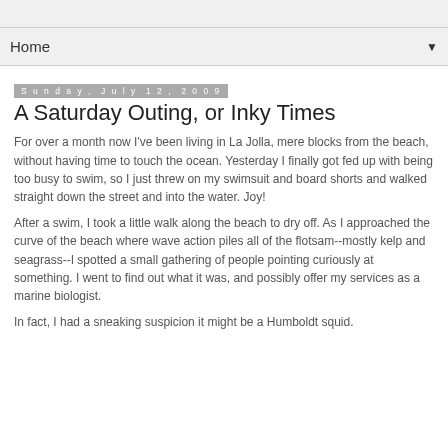Home ▼
Sunday, July 12, 2009
A Saturday Outing, or Inky Times
For over a month now I've been living in La Jolla, mere blocks from the beach, without having time to touch the ocean. Yesterday I finally got fed up with being too busy to swim, so I just threw on my swimsuit and board shorts and walked straight down the street and into the water. Joy!
After a swim, I took a little walk along the beach to dry off. As I approached the curve of the beach where wave action piles all of the flotsam--mostly kelp and seagrass--I spotted a small gathering of people pointing curiously at something. I went to find out what it was, and possibly offer my services as a marine biologist.
In fact, I had a sneaking suspicion it might be a Humboldt squid. I didn't make it all the way to the end of the page.